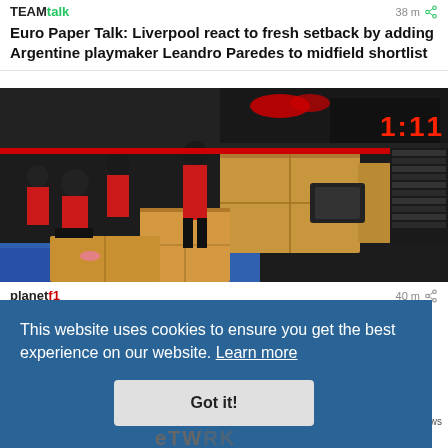TEAMtalk
Euro Paper Talk: Liverpool react to fresh setback by adding Argentine playmaker Leandro Paredes to midfield shortlist
[Figure (photo): Red Bull F1 team members moving large cardboard boxes in a pit garage. The Red Bull Racing branding and digital timing board showing 1:11 are visible in the background. Blue mats on the floor.]
planetf1 — 40 m
The scary logistic costs which already has F1's budget cap ready to burst
This website uses cookies to ensure you get the best experience on our website. Learn more
Got it!